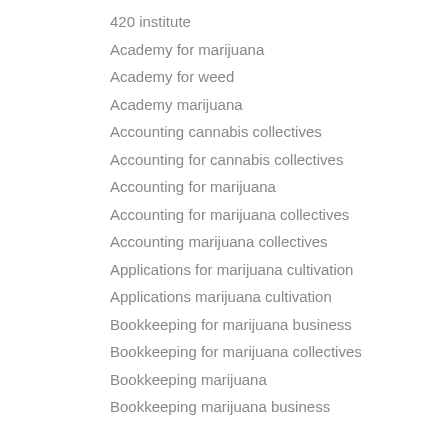420 institute
Academy for marijuana
Academy for weed
Academy marijuana
Accounting cannabis collectives
Accounting for cannabis collectives
Accounting for marijuana
Accounting for marijuana collectives
Accounting marijuana collectives
Applications for marijuana cultivation
Applications marijuana cultivation
Bookkeeping for marijuana business
Bookkeeping for marijuana collectives
Bookkeeping marijuana
Bookkeeping marijuana business